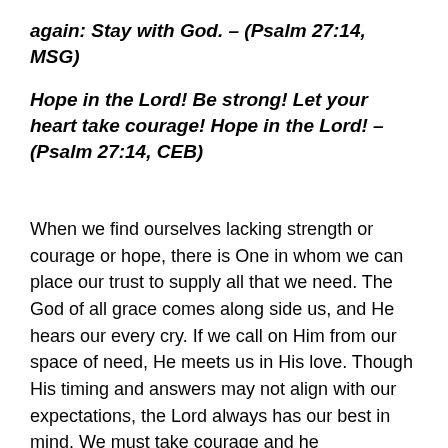again: Stay with God. – (Psalm 27:14, MSG)
Hope in the Lord! Be strong! Let your heart take courage! Hope in the Lord! – (Psalm 27:14, CEB)
When we find ourselves lacking strength or courage or hope, there is One in whom we can place our trust to supply all that we need. The God of all grace comes along side us, and He hears our every cry. If we call on Him from our space of need, He meets us in His love. Though His timing and answers may not align with our expectations, the Lord always has our best in mind. We must take courage and he